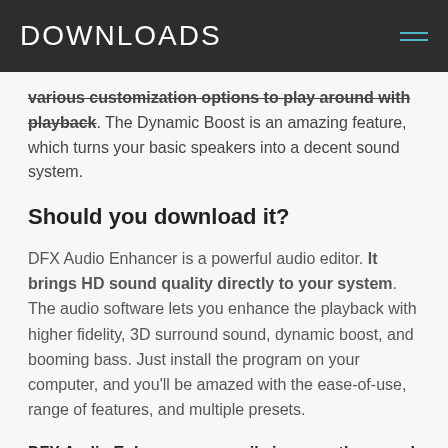DOWNLOADS
various customization options to play around with playback. The Dynamic Boost is an amazing feature, which turns your basic speakers into a decent sound system.
Should you download it?
DFX Audio Enhancer is a powerful audio editor. It brings HD sound quality directly to your system. The audio software lets you enhance the playback with higher fidelity, 3D surround sound, dynamic boost, and booming bass. Just install the program on your computer, and you'll be amazed with the ease-of-use, range of features, and multiple presets.
DFX Audio Enhancer can easily improve the sound of videos, music files, websites, video chats, games,